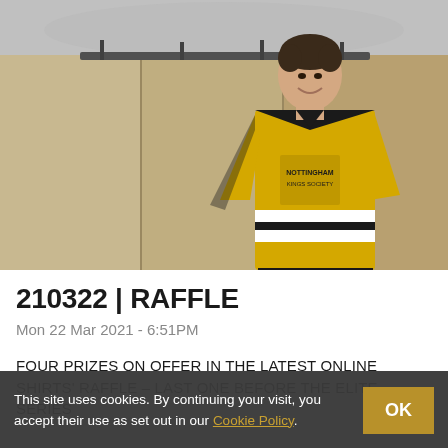[Figure (photo): A man wearing a Nottingham Panthers ice hockey jersey (yellow and black) standing in a locker room, smiling at the camera.]
210322 | RAFFLE
Mon 22 Mar 2021 - 6:51PM
FOUR PRIZES ON OFFER IN THE LATEST ONLINE SHIRTS' RAFFLE – LAST ONE BEFORE THE ELITE SERIES
This site uses cookies. By continuing your visit, you accept their use as set out in our Cookie Policy.